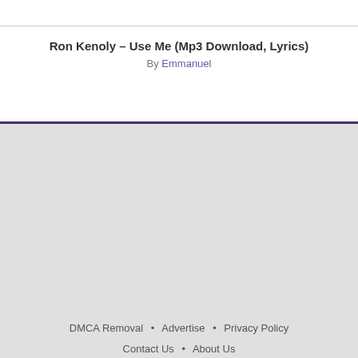Ron Kenoly – Use Me (Mp3 Download, Lyrics)
By Emmanuel
DMCA Removal • Advertise • Privacy Policy
Contact Us • About Us
Albums & EPs
Gospel Songs
© 2022 Adonai Wap, All Rights Reserved | Powered By Wordpress